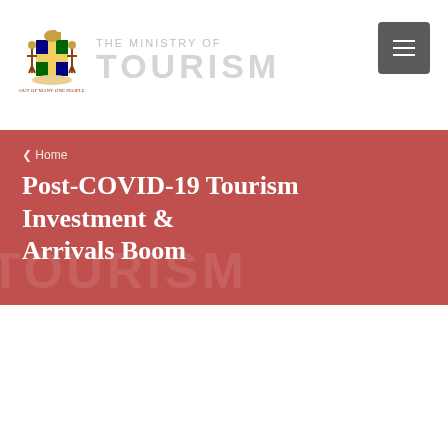[Figure (logo): Jamaica coat of arms with two figures flanking a shield, colorful heraldic design]
THE MINISTRY OF TOURISM
[Figure (other): Dark grey menu/hamburger button in top right corner]
❮ Home
Post-COVID-19 Tourism Investment & Arrivals Boom